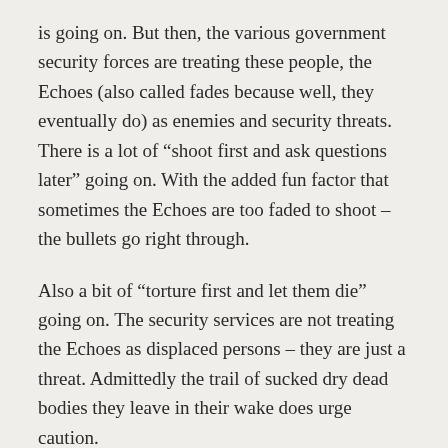is going on. But then, the various government security forces are treating these people, the Echoes (also called fades because well, they eventually do) as enemies and security threats. There is a lot of “shoot first and ask questions later” going on. With the added fun factor that sometimes the Echoes are too faded to shoot – the bullets go right through.
Also a bit of “torture first and let them die” going on. The security services are not treating the Echoes as displaced persons – they are just a threat. Admittedly the trail of sucked dry dead bodies they leave in their wake does urge caution.
Only the scientists want to find out the whys and wherefores of the Echoes. They see (sometimes they don’t exactly see) people. Admittedly, people they want to experiment on a bit, but still people.